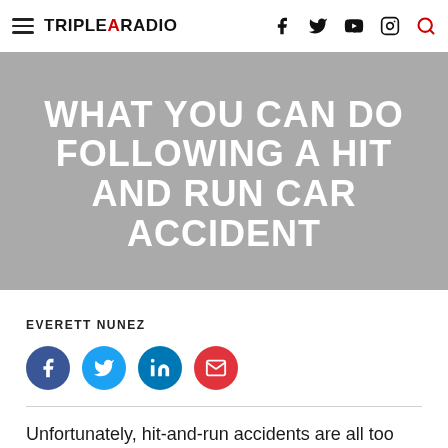[Figure (screenshot): Triple A Radio website navigation bar with hamburger menu, logo, and social media icons (Facebook, Twitter, YouTube, Instagram, Search)]
WHAT YOU CAN DO FOLLOWING A HIT AND RUN CAR ACCIDENT
EVERETT NUNEZ
[Figure (infographic): Social share buttons: Facebook (blue), Twitter (light blue), LinkedIn (dark blue), Email (red)]
Unfortunately, hit-and-run accidents are all too